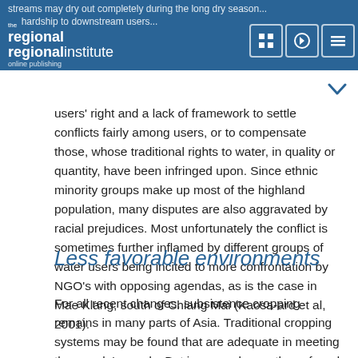streams may dry out completely during the long dry season... hardship to downstream users...
users' right and a lack of framework to settle conflicts fairly among users, or to compensate those, whose traditional rights to water, in quality or quantity, have been infringed upon. Since ethnic minority groups make up most of the highland population, many disputes are also aggravated by racial prejudices. Most unfortunately the conflict is sometimes further inflamed by different groups of water users being incited to more confrontation by NGO's with opposing agendas, as is the case in Mae Klang, south of Chiang Mai (Kaosa-ard et al, 2001).
Less favorable environments
For all recent changes, subsistence cropping remains in many parts of Asia. Traditional cropping systems may be found that are adequate in meeting the people's needs. But in general even those found to be ecologically sound and sufficiently